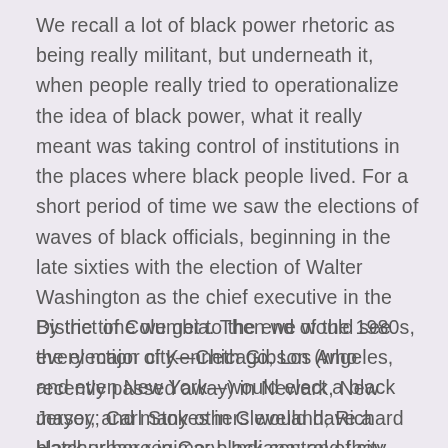We recall a lot of black power rhetoric as being really militant, but underneath it, when people really tried to operationalize the idea of black power, what it really meant was taking control of institutions in the places where black people lived. For a short period of time we saw the elections of waves of black officials, beginning in the late sixties with the election of Walter Washington as the chief executive in the District of Columbia. Then we would see the election of Kenneth Gibson (who recently passed away) in Newark, New Jersey; Carl Stokes in Cleveland; Richard Hatcher here in Gary, Indiana; and they would just keep coming for the next couple of decades.
By the time we get to the end of the 1980s, every major city—Chicago, Los Angeles, and even New York—would elect a black mayor, and many others would have a black urban regime: black control of city council as well as control of the mayor's office. You'd have